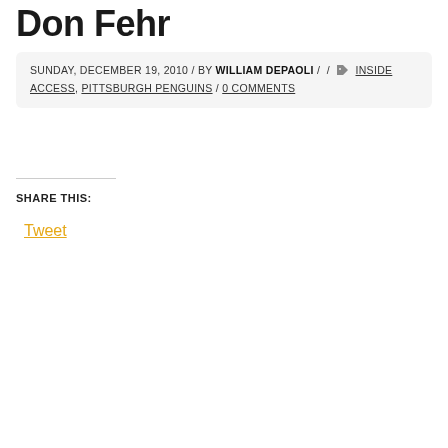Don Fehr
SUNDAY, DECEMBER 19, 2010 / BY William DePaoli / / INSIDE ACCESS, PITTSBURGH PENGUINS / 0 COMMENTS
SHARE THIS:
Tweet